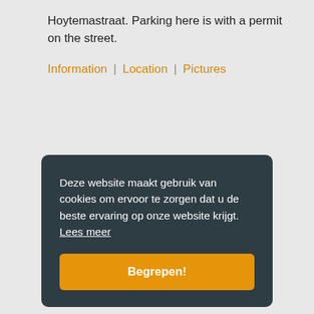Hoytemastraat. Parking here is with a permit on the street.
Information | Location | Pictures
Deze website maakt gebruik van cookies om ervoor te zorgen dat u de beste ervaring op onze website krijgt. Lees meer
Begrepen!